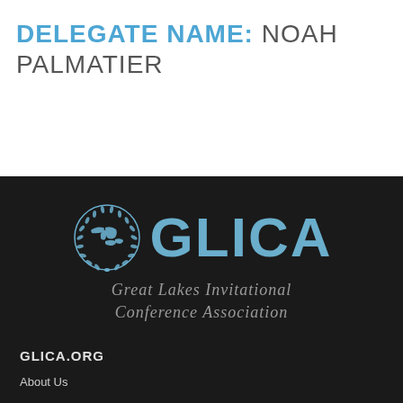DELEGATE NAME: NOAH PALMATIER
[Figure (logo): GLICA logo with UN-style laurel wreath surrounding Great Lakes map icon, with large text 'GLICA' in light blue, and subtitle 'Great Lakes Invitational Conference Association' in gray italic on dark background]
GLICA.ORG
About Us